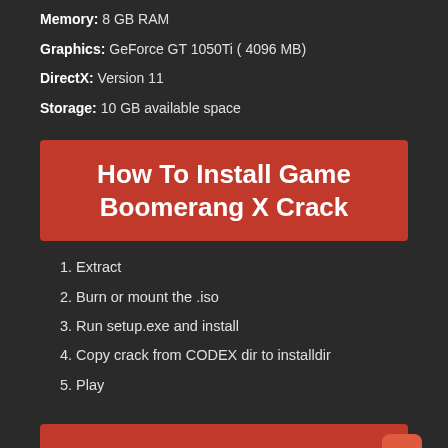Memory: 8 GB RAM
Graphics: GeForce GT 1050Ti ( 4096 MB)
DirectX: Version 11
Storage: 10 GB available space
How To Install Game Boomerang X Crack
1. Extract
2. Burn or mount the .iso
3. Run setup.exe and install
4. Copy crack from CODEX dir to installdir
5. Play
Boomerang X Free Download